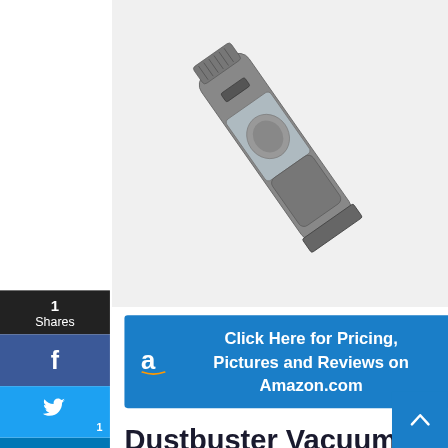[Figure (photo): Handheld vacuum cleaner (Holife dustbuster) shown at an angle on white/light gray background]
[Figure (infographic): Blue Amazon affiliate button with Amazon logo 'a' and text: Click Here for Pricing, Pictures and Reviews on Amazon.com]
Dustbuster Vacuum Review:
Looking for a best dustbuster to be able to clean up both wet and dry messes with the same hand vac? With the Holife Handheld Vacuum Cleaner, you'll get a wet nozzle